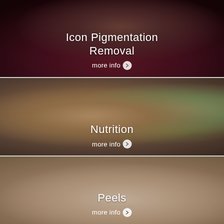[Figure (photo): Portrait of a woman with dark hair wearing a maroon tank top against a dark background, with text overlay 'Icon Pigmentation Removal' and 'more info' button]
[Figure (photo): Portrait of a smiling woman with long auburn hair holding a bowl of salad against a bright kitchen background, with text overlay 'Nutrition' and 'more info' button]
[Figure (photo): Close-up of a woman lying back with eyes closed smiling, receiving a facial treatment, with text overlay 'Peels' and 'more info' button]